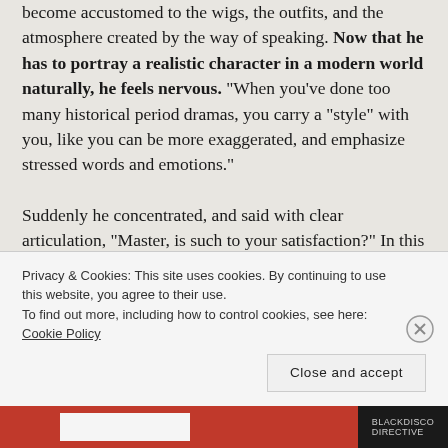become accustomed to the wigs, the outfits, and the atmosphere created by the way of speaking. Now that he has to portray a realistic character in a modern world naturally, he feels nervous. “When you’ve done too many historical period dramas, you carry a “style” with you, like you can be more exaggerated, and emphasize stressed words and emotions.”

Suddenly he concentrated, and said with clear articulation, “Master, is such to your satisfaction?” In this dressing room filled with clothes, it did make people feel out of sorts.
Privacy & Cookies: This site uses cookies. By continuing to use this website, you agree to their use.
To find out more, including how to control cookies, see here: Cookie Policy
Close and accept